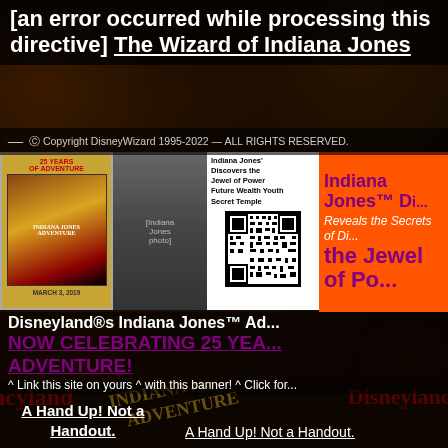[an error occurred while processing this directive] The Wizard of Indiana Jones
— © Copyright DisneyWizard 1995-2022 — ALL RIGHTS RESERVED.
[Figure (infographic): Promotional banner area with Indiana Jones Adventure 25th anniversary imagery: left section shows a movie poster dated March 3, 2019 with a gold border, middle shows a black-and-white photo of Indiana Jones character, next section shows a white block with text 'Indiana Jones Discovers the Jewel of Power Future Wealth Youth Secret Temple' with a QR code, right orange section shows 'Indiana Jones D... Reveals the Secrets of Di... the Jewel of Po...']
Disneyland®s Indiana Jones™ Ad
NOW CELEBRATING 25 YEA ADVENTURE!
^ Link this site on yours ^ with this banner! ^ Click for
[Figure (infographic): Dark background with Disneyland and Indiana Jones Adventure logo text overlaid in gold and dark red, showing repeated Disneyland branding]
A Hand Up! Not a Handout.
A Hand Up! Not a Handout.